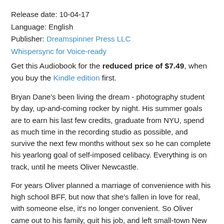Release date: 10-04-17
Language: English
Publisher: Dreamspinner Press LLC
Whispersync for Voice-ready
Get this Audiobook for the reduced price of $7.49, when you buy the Kindle edition first.
Bryan Dane's been living the dream - photography student by day, up-and-coming rocker by night. His summer goals are to earn his last few credits, graduate from NYU, spend as much time in the recording studio as possible, and survive the next few months without sex so he can complete his yearlong goal of self-imposed celibacy. Everything is on track, until he meets Oliver Newcastle.
For years Oliver planned a marriage of convenience with his high school BFF, but now that she's fallen in love for real, with someone else, it's no longer convenient. So Oliver came out to his family, quit his job, and left small-town New England for NYC, an intensive summer study program, and a